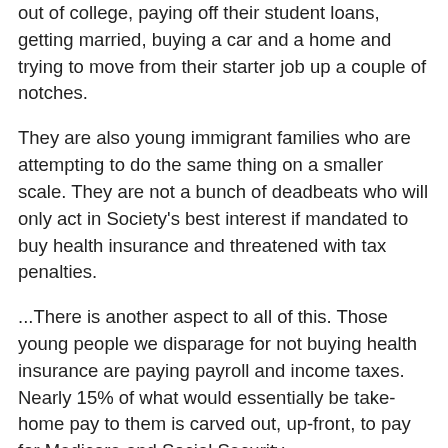out of college, paying off their student loans, getting married, buying a car and a home and trying to move from their starter job up a couple of notches.
They are also young immigrant families who are attempting to do the same thing on a smaller scale. They are not a bunch of deadbeats who will only act in Society's best interest if mandated to buy health insurance and threatened with tax penalties.
...There is another aspect to all of this. Those young people we disparage for not buying health insurance are paying payroll and income taxes. Nearly 15% of what would essentially be take-home pay to them is carved out, up-front, to pay for Medicare and Social Security.
And, a significant portion of their income taxes goes to pay for Medicaid recipients. This young generation we are painting red is paying for the